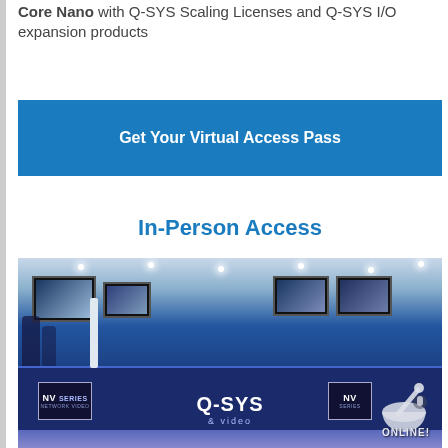Core Nano with Q-SYS Scaling Licenses and Q-SYS I/O expansion products
Get Your Virtual Access Pass
In-Person Access
[Figure (photo): Q-SYS trade show booth with multiple monitors displaying software interfaces, a large blue branded counter with Q-SYS and NV Series signage, and booth visitors in the background. An 'ONLINE!' watermark with a mortar and pestle icon overlays the bottom-right corner.]